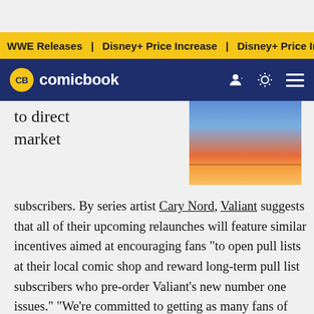WWE Releases | Disney+ Price Increase | Disney+ Price Incre
CB comicbook
to direct market
[Figure (illustration): Comic book cover artwork showing an orange and blue sunset sky with birds in silhouette]
subscribers. By series artist Cary Nord, Valiant suggests that all of their upcoming relaunches will feature similar incentives aimed at encouraging fans "to open pull lists at their local comic shop and reward long-term pull list subscribers who pre-order Valiant's new number one issues." "We're committed to getting as many fans of Valiant's original incarnation as possible back into brick-and-mortar comic shops on May 2nd for X-O Manowar #1," said Publisher Fred Pierce in a statement. "There are many